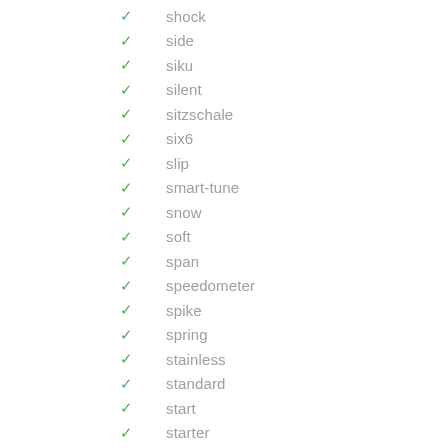shock
side
siku
silent
sitzschale
six6
slip
smart-tune
snow
soft
span
speedometer
spike
spring
stainless
standard
start
starter